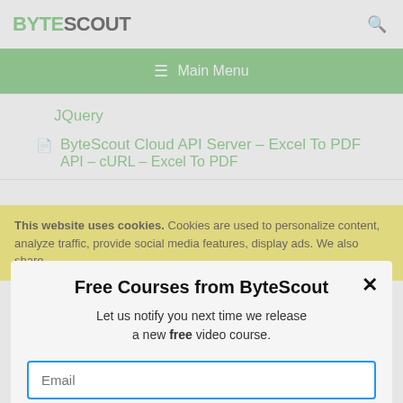BYTESCOUT
≡ Main Menu
JQuery
ByteScout Cloud API Server – Excel To PDF API – cURL – Excel To PDF
This website uses cookies. Cookies are used to personalize content, analyze traffic, provide social media features, display ads. We also share
Free Courses from ByteScout
Let us notify you next time we release a new free video course.
Email
SUBSCRIBE